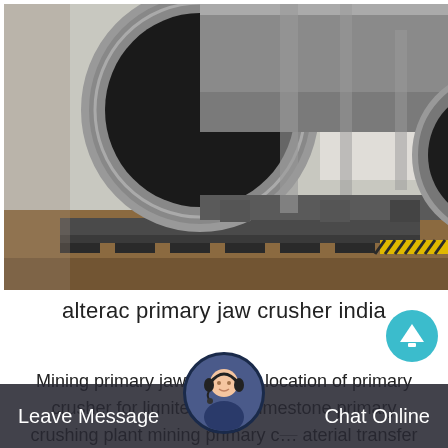[Figure (photo): Large industrial cylindrical rotary drum or ball mill machinery on a flatbed transport platform inside or near an industrial facility. The large grey metal cylindrical tubes are prominent, viewed from the front-left angle showing the circular opening.]
alterac primary jaw crusher india
Mining primary jaw crushers location of primary crusher for lignite 50 mm limestone primary crushing plant mining primary c... aterial transfer 800 tp...
Leave Message   Chat Online